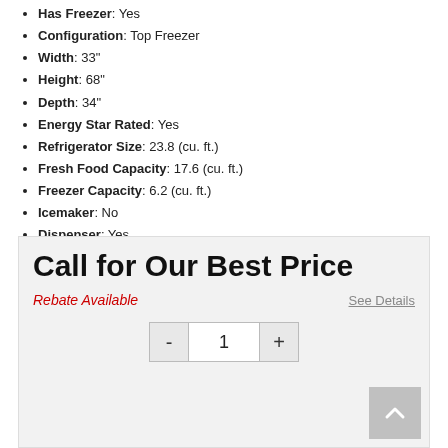Has Freezer: Yes
Configuration: Top Freezer
Width: 33"
Height: 68"
Depth: 34"
Energy Star Rated: Yes
Refrigerator Size: 23.8 (cu. ft.)
Fresh Food Capacity: 17.6 (cu. ft.)
Freezer Capacity: 6.2 (cu. ft.)
Icemaker: No
Dispenser: Yes
Counter Depth: No
Sabbath Mode: No
WiFi Connected: No
See More
Call for Our Best Price
Rebate Available
See Details
1